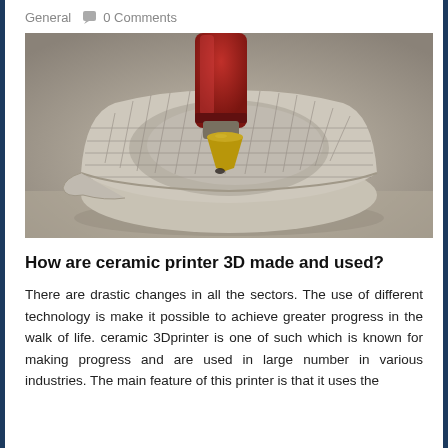General  0 Comments
[Figure (photo): Close-up photo of a ceramic 3D printer nozzle (red body, brass tip) printing a ceramic bowl-shaped object with a lattice/woven texture on a light background.]
How are ceramic printer 3D made and used?
There are drastic changes in all the sectors. The use of different technology is make it possible to achieve greater progress in the walk of life. ceramic 3Dprinter is one of such which is known for making progress and are used in large number in various industries. The main feature of this printer is that it uses the